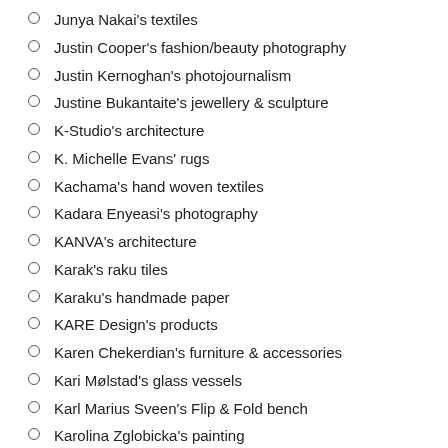Junya Nakai's textiles
Justin Cooper's fashion/beauty photography
Justin Kernoghan's photojournalism
Justine Bukantaite's jewellery & sculpture
K-Studio's architecture
K. Michelle Evans' rugs
Kachama's hand woven textiles
Kadara Enyeasi's photography
KANVA's architecture
Karak's raku tiles
Karaku's handmade paper
KARE Design's products
Karen Chekerdian's furniture & accessories
Kari Mølstad's glass vessels
Karl Marius Sveen's Flip & Fold bench
Karolina Zglobicka's painting
Kate Baker's glass art